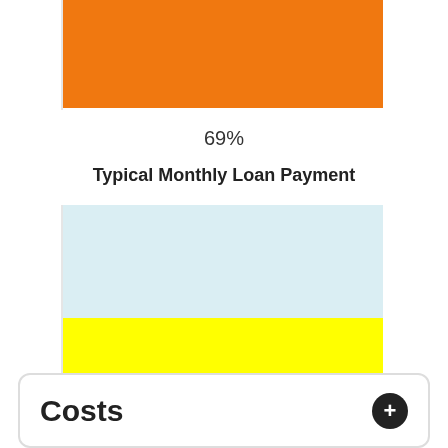[Figure (bar-chart): ]
[Figure (bar-chart): Typical Monthly Loan Payment]
Costs